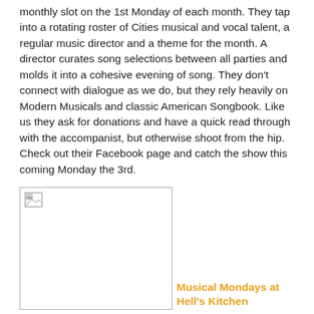monthly slot on the 1st Monday of each month. They tap into a rotating roster of Cities musical and vocal talent, a regular music director and a theme for the month. A director curates song selections between all parties and molds it into a cohesive evening of song. They don't connect with dialogue as we do, but they rely heavily on Modern Musicals and classic American Songbook. Like us they ask for donations and have a quick read through with the accompanist, but otherwise shoot from the hip. Check out their Facebook page and catch the show this coming Monday the 3rd.
[Figure (photo): Broken image placeholder showing a small broken image icon in the top-left of a bordered box]
Musical Mondays at Hell's Kitchen
Lastly - the new kid on the block. It is called Cast Party at